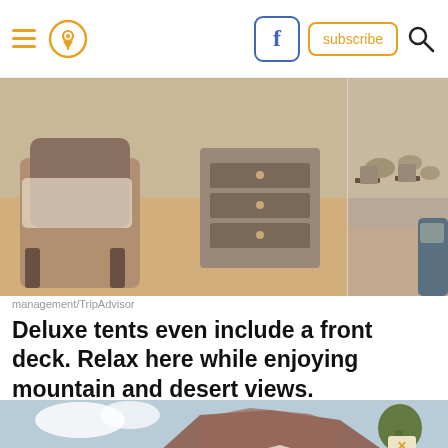Navigation header with hamburger menu, location pin icon, Facebook button, subscribe button, and search icon
[Figure (photo): Interior of a luxury tent accommodation showing a vintage armchair with fur throw, wooden dresser, and a second panel showing chairs on a deck with desert landscape view, plus a partial view of outdoor seating]
management/TripAdvisor
Deluxe tents even include a front deck. Relax here while enjoying mountain and desert views.
[Figure (photo): Outdoor view of luxury glamping tents with a dramatic red rock mesa in the background under a partly cloudy blue sky, with trees visible and a canvas canopy structure in the foreground]